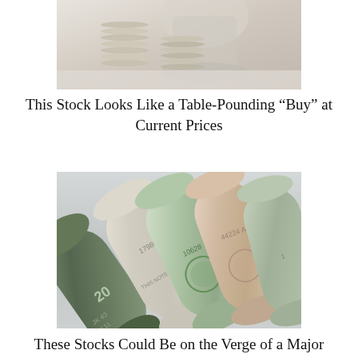[Figure (photo): Photo of stacked silver coins with a glass/jar in the background, partially cropped at top of page]
This Stock Looks Like a Table-Pounding “Buy” at Current Prices
[Figure (photo): Photo of rolled-up US dollar bills (20s and 100s) arranged diagonally on a light background]
These Stocks Could Be on the Verge of a Major Move Higher